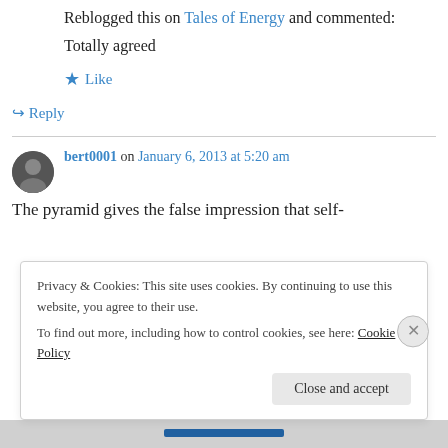Reblogged this on Tales of Energy and commented:
Totally agreed
★ Like
↪ Reply
bert0001 on January 6, 2013 at 5:20 am
The pyramid gives the false impression that self-
Privacy & Cookies: This site uses cookies. By continuing to use this website, you agree to their use. To find out more, including how to control cookies, see here: Cookie Policy
Close and accept